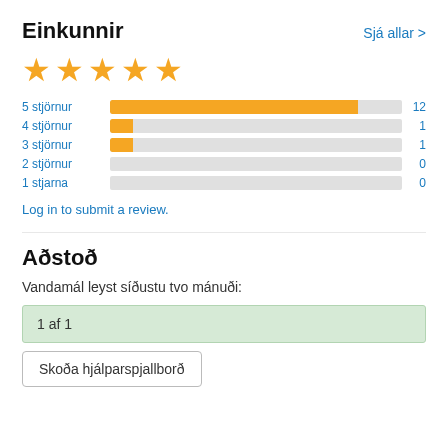Einkunnir
Sjá allar >
[Figure (other): 5 yellow stars rating display]
[Figure (bar-chart): Star rating distribution]
Log in to submit a review.
Aðstoð
Vandamál leyst síðustu tvo mánuði:
1 af 1
Skoða hjálparspjallborð